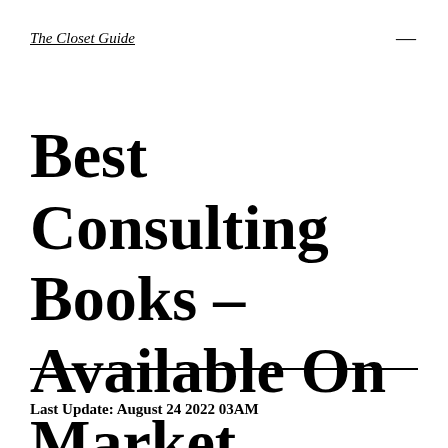The Closet Guide
Best Consulting Books – Available On Market
Last Update: August 24 2022 03AM